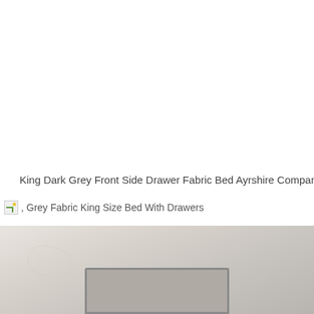King Dark Grey Front Side Drawer Fabric Bed Ayrshire Company
, Grey Fabric King Size Bed With Drawers
[Figure (photo): Photograph of a grey fabric bed headboard area showing light grey padded fabric and a rectangular headboard frame visible at the bottom of the image]